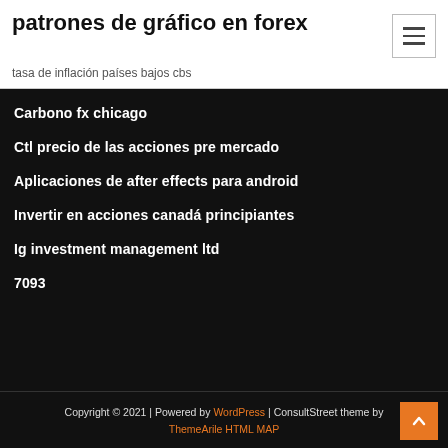patrones de gráfico en forex
tasa de inflación países bajos cbs
Carbono fx chicago
Ctl precio de las acciones pre mercado
Aplicaciones de after effects para android
Invertir en acciones canadá principiantes
Ig investment management ltd
7093
Copyright © 2021 | Powered by WordPress | ConsultStreet theme by ThemeArile HTML MAP